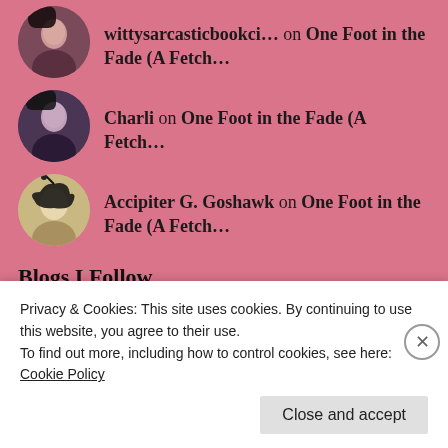wittysarcasticbookci… on One Foot in the Fade (A Fetch…
Charli on One Foot in the Fade (A Fetch…
Accipiter G. Goshawk on One Foot in the Fade (A Fetch…
Blogs I Follow
[Figure (other): Two blog card thumbnails side by side, left is blank white, right shows a circular logo with letter a and a blue star]
Privacy & Cookies: This site uses cookies. By continuing to use this website, you agree to their use.
To find out more, including how to control cookies, see here: Cookie Policy
Close and accept